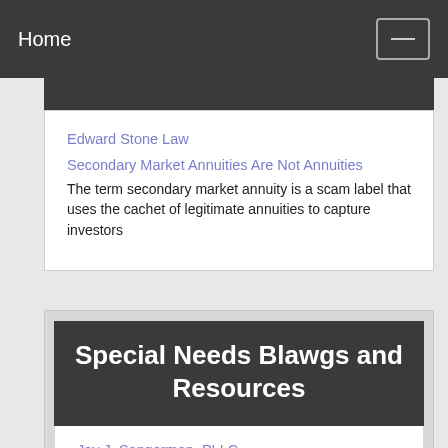Home
Edward Stone Law
Secondary Market Annuities Are Not Annuities
The term secondary market annuity is a scam label that uses the cachet of legitimate annuities to capture investors
Special Needs Blawgs and Resources
Jay J. Sangerman, PLLC
A New York and Florida based AV rated estate